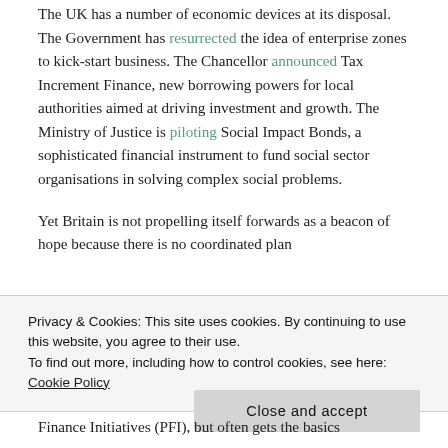The UK has a number of economic devices at its disposal. The Government has resurrected the idea of enterprise zones to kick-start business. The Chancellor announced Tax Increment Finance, new borrowing powers for local authorities aimed at driving investment and growth. The Ministry of Justice is piloting Social Impact Bonds, a sophisticated financial instrument to fund social sector organisations in solving complex social problems.
Yet Britain is not propelling itself forwards as a beacon of hope because there is no coordinated plan
Privacy & Cookies: This site uses cookies. By continuing to use this website, you agree to their use.
To find out more, including how to control cookies, see here: Cookie Policy
Close and accept
Finance Initiatives (PFI), but often gets the basics